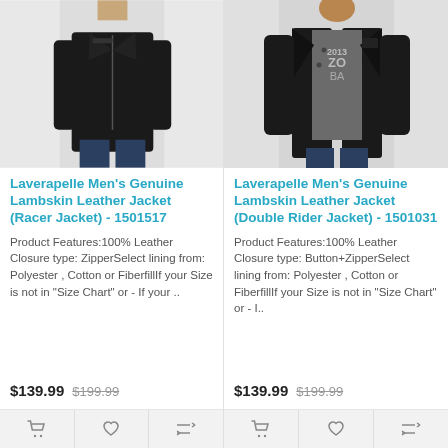[Figure (photo): Man wearing a black Laverapelle Racer leather jacket, shown from chest down, with dark jeans]
Laverapelle Men's Genuine Lambskin Leather Jacket (Racer Jacket) - 1501517
Product Features:100% Leather Closure type: ZipperSelect lining from: Polyester , Cotton or FiberfillIf your Size is not in "Size Chart" or - If your ..
$139.99  $199.99
[Figure (photo): Man wearing a black Laverapelle Double Rider leather jacket, open front showing grey graphic t-shirt, with dark jeans]
Laverapelle Men's Genuine Lambskin Leather Jacket (Double Rider Jacket) - 1501031
Product Features:100% Leather Closure type: Button+ZipperSelect lining from: Polyester , Cotton or FiberfillIf your Size is not in "Size Chart" or - I..
$139.99  $199.99